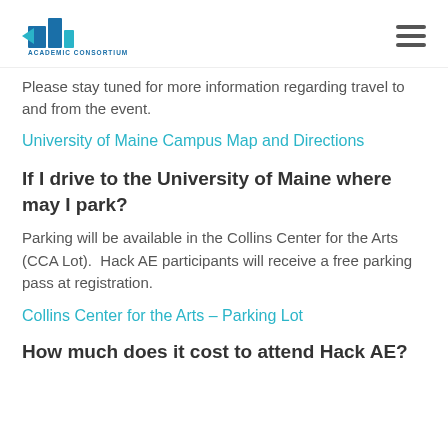Academic Consortium
Please stay tuned for more information regarding travel to and from the event.
University of Maine Campus Map and Directions
If I drive to the University of Maine where may I park?
Parking will be available in the Collins Center for the Arts (CCA Lot).  Hack AE participants will receive a free parking pass at registration.
Collins Center for the Arts – Parking Lot
How much does it cost to attend Hack AE?